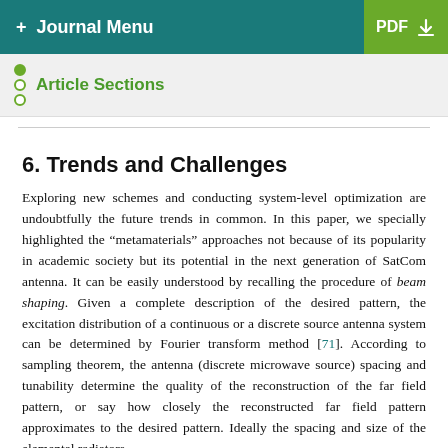+ Journal Menu | PDF ↓
Article Sections
6. Trends and Challenges
Exploring new schemes and conducting system-level optimization are undoubtfully the future trends in common. In this paper, we specially highlighted the "metamaterials" approaches not because of its popularity in academic society but its potential in the next generation of SatCom antenna. It can be easily understood by recalling the procedure of beam shaping. Given a complete description of the desired pattern, the excitation distribution of a continuous or a discrete source antenna system can be determined by Fourier transform method [71]. According to sampling theorem, the antenna (discrete microwave source) spacing and tunability determine the quality of the reconstruction of the far field pattern, or say how closely the reconstructed far field pattern approximates to the desired pattern. Ideally the spacing and size of the elemental radiators